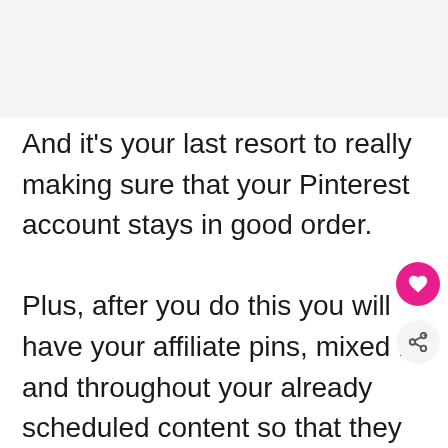[Figure (other): Gray placeholder image area at the top of the page]
And it's your last resort to really making sure that your Pinterest account stays in good order.

Plus, after you do this you will have your affiliate pins, mixed in and throughout your already scheduled content so that they are ready to be marketing on the dates and tim that they are set out to.